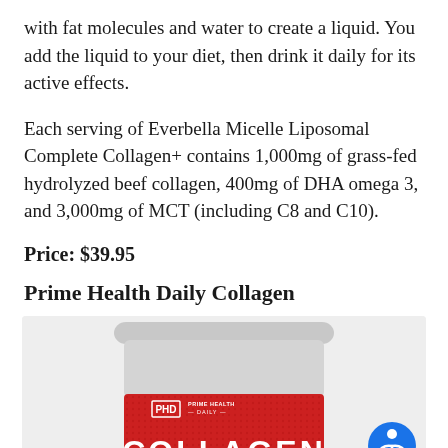with fat molecules and water to create a liquid. You add the liquid to your diet, then drink it daily for its active effects.
Each serving of Everbella Micelle Liposomal Complete Collagen+ contains 1,000mg of grass-fed hydrolyzed beef collagen, 400mg of DHA omega 3, and 3,000mg of MCT (including C8 and C10).
Price: $39.95
Prime Health Daily Collagen
[Figure (photo): Product image of Prime Health Daily Collagen powder container with red label showing PHD Prime Health Daily logo and COLLAGEN text in white.]